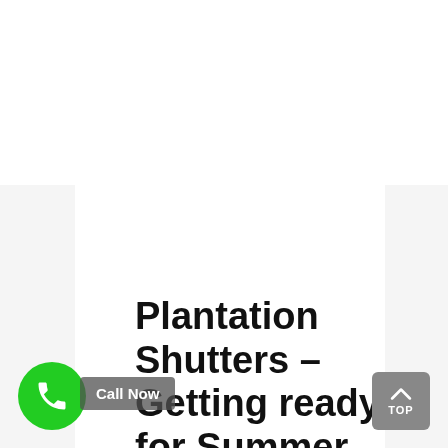Plantation Shutters – Getting ready for Summer in Florida